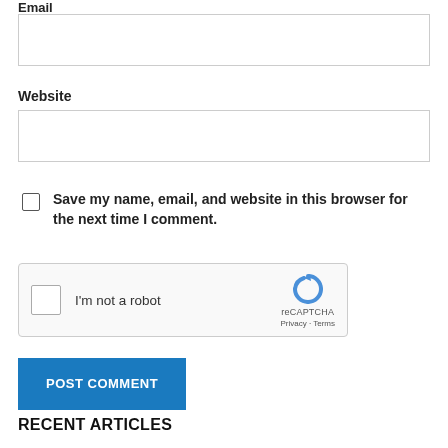Email
[Figure (screenshot): Empty text input box for Email field]
Website
[Figure (screenshot): Empty text input box for Website field]
Save my name, email, and website in this browser for the next time I comment.
[Figure (screenshot): reCAPTCHA widget with checkbox and 'I'm not a robot' text, reCAPTCHA logo, Privacy and Terms links]
[Figure (screenshot): POST COMMENT button in blue]
RECENT ARTICLES